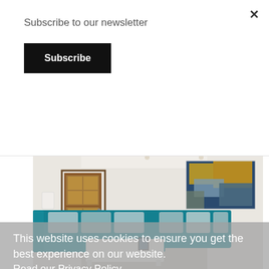×
Subscribe to our newsletter
Subscribe
existing services to this increasingly growing market segment.
[Figure (photo): Interior living room photo showing a teal L-shaped sofa with grey cushions, a white coffee table, wooden double doors with glass panes, white walls, and a large abstract painting in blue, gold and grey tones on the right wall.]
This website uses cookies to ensure you get the best experience on our website.
Read our Privacy Policy
Accept